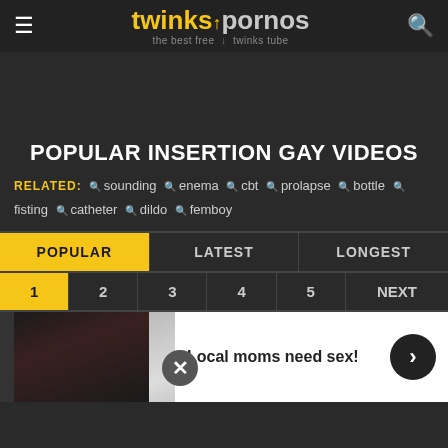twinkspornos - the best free twinks tube
POPULAR INSERTION GAY VIDEOS
RELATED: sounding enema cbt prolapse bottle fisting catheter dildo femboy
POPULAR | LATEST | LONGEST
1 2 3 4 5 NEXT
[Figure (screenshot): Video thumbnails row with advertisement overlay reading 'Local moms need sex!']